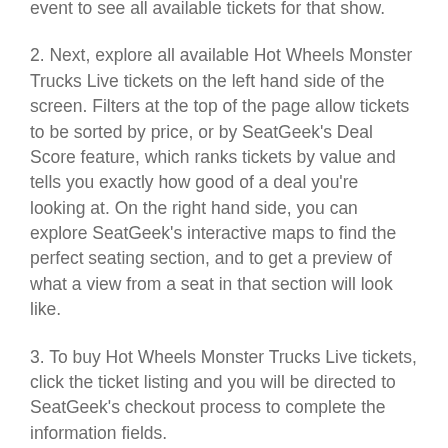event to see all available tickets for that show.
2. Next, explore all available Hot Wheels Monster Trucks Live tickets on the left hand side of the screen. Filters at the top of the page allow tickets to be sorted by price, or by SeatGeek's Deal Score feature, which ranks tickets by value and tells you exactly how good of a deal you're looking at. On the right hand side, you can explore SeatGeek's interactive maps to find the perfect seating section, and to get a preview of what a view from a seat in that section will look like.
3. To buy Hot Wheels Monster Trucks Live tickets, click the ticket listing and you will be directed to SeatGeek's checkout process to complete the information fields.
4. SeatGeek will process your order and deliver your Hot Wheels Monster Trucks Live tickets.